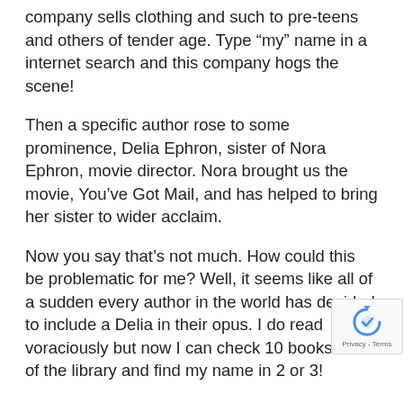company sells clothing and such to pre-teens and others of tender age.  Type “my” name in a internet search and this company hogs the scene!
Then a specific author rose to some prominence, Delia Ephron, sister of Nora Ephron, movie director.  Nora brought us the movie, You’ve Got Mail, and has helped to bring her sister to wider acclaim.
Now you say that’s not much.  How could this be problematic for me?  Well, it seems like all of a sudden every author in the world has decided to include a Delia in their opus.  I do read voraciously but now I can check 10 books out of the library and find my name in 2 or 3!
Now for those of you who are accustomed to seeing “your” names in print, you cannot fathom how truly disconcerting and upsetting this is for me.  For most of my life, my name virtually did not appear in print.  If Delia was mentioned, who me someone was talking about me, like in a newspaper...